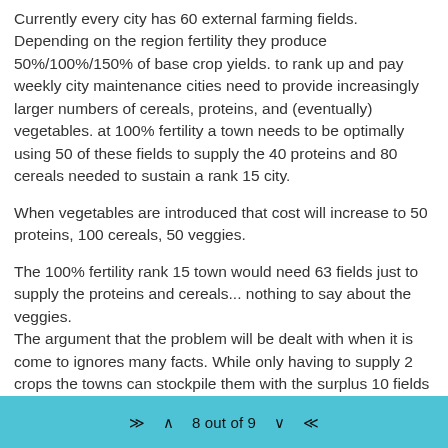Currently every city has 60 external farming fields. Depending on the region fertility they produce 50%/100%/150% of base crop yields. to rank up and pay weekly city maintenance cities need to provide increasingly larger numbers of cereals, proteins, and (eventually) vegetables. at 100% fertility a town needs to be optimally using 50 of these fields to supply the 40 proteins and 80 cereals needed to sustain a rank 15 city.
When vegetables are introduced that cost will increase to 50 proteins, 100 cereals, 50 veggies.
The 100% fertility rank 15 town would need 63 fields just to supply the proteins and cereals... nothing to say about the veggies.
The argument that the problem will be dealt with when it is come to ignores many facts. While only having to supply 2 crops the towns can stockpile them with the surplus 10 fields not being used, thus when the 3rd crop is introduced its effect on the economy will not be felt for quite some time and thus not provide good testing data for even longer.
8 out of 9